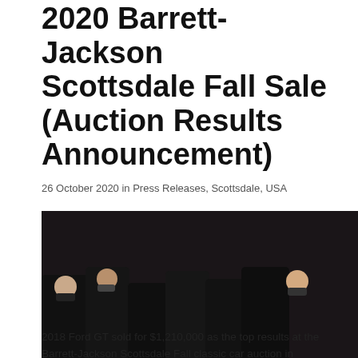2020 Barrett-Jackson Scottsdale Fall Sale (Auction Results Announcement)
26 October 2020 in Press Releases, Scottsdale, USA
[Figure (photo): Black 2018 Ford GT supercar on auction stage at Barrett-Jackson with crowd wearing masks in background and Barrett-Jackson logo visible]
2018 Ford GT sold for $1,210,000 as the top results at the Barrett-Jackson Scottsdale Fall classic car auction in